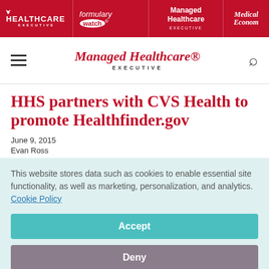BHEALTHCARE EXECUTIVE | formulary watch® | Managed Healthcare EXECUTIVE | Medical Economics
[Figure (logo): Managed Healthcare Executive logo with hamburger menu and search icon]
HHS partners with CVS Health to promote Healthfinder.gov
June 9, 2015
Evan Ross
This website stores data such as cookies to enable essential site functionality, as well as marketing, personalization, and analytics. Cookie Policy
Accept
Deny